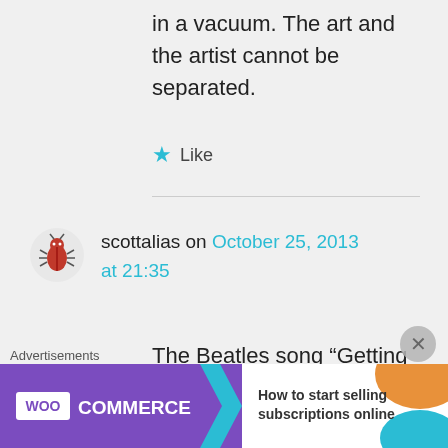in a vacuum. The art and the artist cannot be separated.
Like
scottalias on October 25, 2013 at 21:35
The Beatles song “Getting Better” was almost entirely written by Paul McCartney, the only contribution by John Lennon was the
Advertisements
[Figure (screenshot): WooCommerce advertisement banner: 'How to start selling subscriptions online']